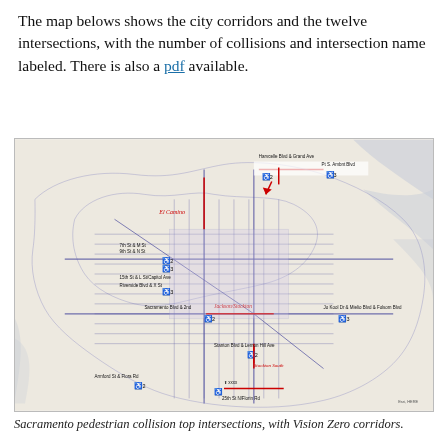The map belows shows the city corridors and the twelve intersections, with the number of collisions and intersection name labeled. There is also a pdf available.
[Figure (map): A city map of Sacramento showing pedestrian collision top intersections and Vision Zero corridors. Blue lines show city street corridors, red lines highlight specific corridors (El Camino, Jackson/Stockton, Stockton South, etc.). Twelve intersections are labeled with pedestrian icons and collision counts (2 or 3). Labeled intersections include: Harvcelle Blvd & Grand Ave, 7th St & M St, 9th St & N St, 15th St & L St/Capitol Ave, Riverside Blvd & X St, Sacramento Blvd & 2nd/Jackson-Stockton, Jo Kool Dr & Mielio Blvd & Folsom Blvd, Stanton Blvd & Lemon Hill Ave, Armford St & Flora Rd, 25th St N/Florin Rd.]
Sacramento pedestrian collision top intersections, with Vision Zero corridors.